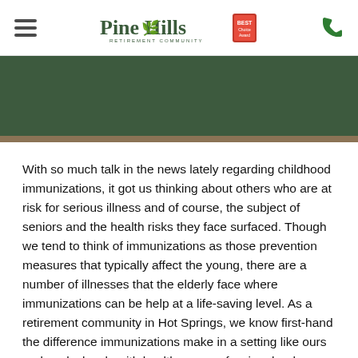Pine Hills Retirement Community
[Figure (illustration): Dark green banner header image]
With so much talk in the news lately regarding childhood immunizations, it got us thinking about others who are at risk for serious illness and of course, the subject of seniors and the health risks they face surfaced. Though we tend to think of immunizations as those prevention measures that typically affect the young, there are a number of illnesses that the elderly face where immunizations can be help at a life-saving level. As a retirement community in Hot Springs, we know first-hand the difference immunizations make in a setting like ours and work closely with health care professionals who recommend the following vaccines for seniors: